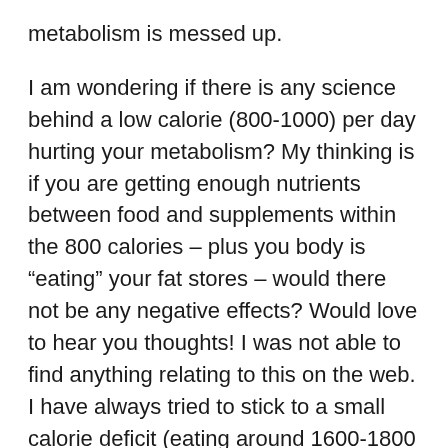metabolism is messed up.
I am wondering if there is any science behind a low calorie (800-1000) per day hurting your metabolism? My thinking is if you are getting enough nutrients between food and supplements within the 800 calories – plus you body is “eating” your fat stores – would there not be any negative effects? Would love to hear you thoughts! I was not able to find anything relating to this on the web. I have always tried to stick to a small calorie deficit (eating around 1600-1800 per day). And while successful, lower calories would probably speed up weight loss. I have lost about 60lbs following your plan and still have another 100 to go.
Thanks and love everything you do! Thanks for